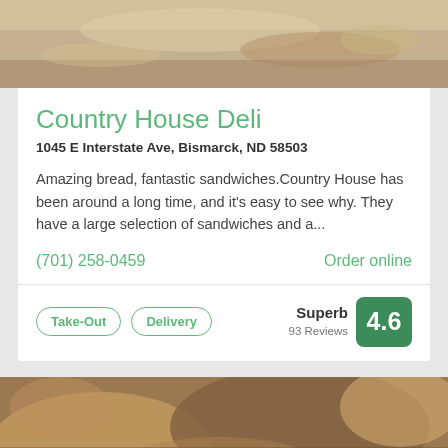[Figure (photo): Top photo of a sandwich with onions, lettuce, and bread]
Country House Deli
1045 E Interstate Ave, Bismarck, ND 58503
Amazing bread, fantastic sandwiches.Country House has been around a long time, and it's easy to see why. They have a large selection of sandwiches and a...
(701) 258-0459
Order online
Take-Out
Delivery
Superb 93 Reviews 4.6
[Figure (photo): Bottom photo of a meatball sandwich shop with label SANDWICH SHOP • $$]